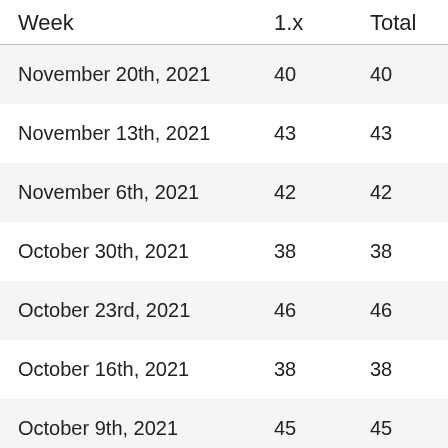| Week | 1.x | Total |
| --- | --- | --- |
| November 20th, 2021 | 40 | 40 |
| November 13th, 2021 | 43 | 43 |
| November 6th, 2021 | 42 | 42 |
| October 30th, 2021 | 38 | 38 |
| October 23rd, 2021 | 46 | 46 |
| October 16th, 2021 | 38 | 38 |
| October 9th, 2021 | 45 | 45 |